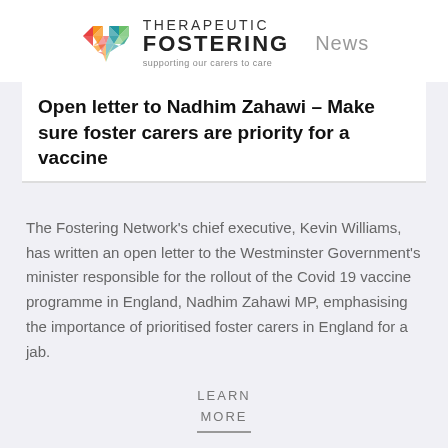[Figure (logo): Therapeutic Fostering logo with colorful heart made of geometric triangles and text 'THERAPEUTIC FOSTERING supporting our carers to care' alongside 'News' label]
Open letter to Nadhim Zahawi – Make sure foster carers are priority for a vaccine
The Fostering Network's chief executive, Kevin Williams, has written an open letter to the Westminster Government's minister responsible for the rollout of the Covid 19 vaccine programme in England, Nadhim Zahawi MP, emphasising the importance of prioritised foster carers in England for a jab.
LEARN MORE